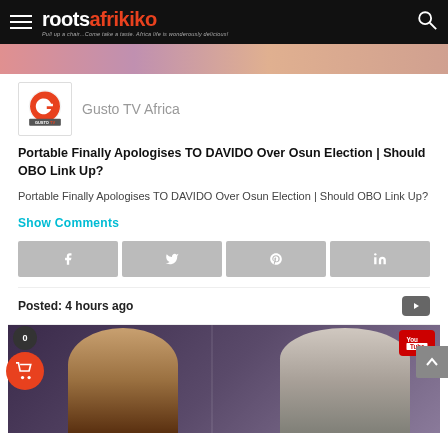rootsafrikiko - Pull up a chair...Come take a taste. Africa life is wonderously delicious!
[Figure (photo): Partial top image strip showing colorful content]
Gusto TV Africa
Portable Finally Apologises TO DAVIDO Over Osun Election | Should OBO Link Up?
Portable Finally Apologises TO DAVIDO Over Osun Election | Should OBO Link Up?
Show Comments
Posted: 4 hours ago
[Figure (photo): Two people in formal attire with YouTube badge overlay]